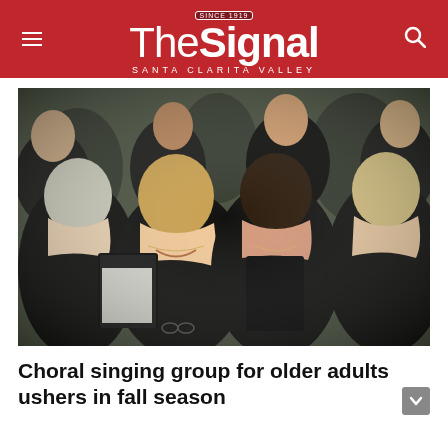The Signal — Santa Clarita Valley
[Figure (photo): Group of older adult women dressed in black choir attire, smiling and holding black folders with sheet music, posed together as a choral group.]
Choral singing group for older adults ushers in fall season